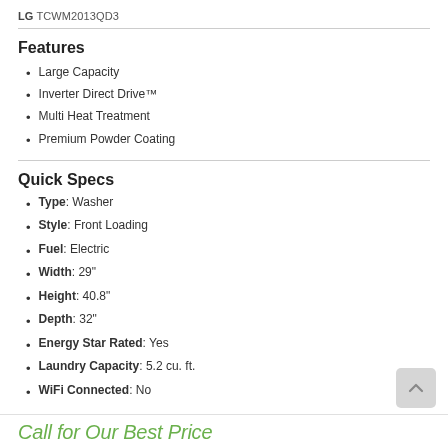LG TCWM2013QD3
Features
Large Capacity
Inverter Direct Drive™
Multi Heat Treatment
Premium Powder Coating
Quick Specs
Type: Washer
Style: Front Loading
Fuel: Electric
Width: 29"
Height: 40.8"
Depth: 32"
Energy Star Rated: Yes
Laundry Capacity: 5.2 cu. ft.
WiFi Connected: No
See More
Call for Our Best Price